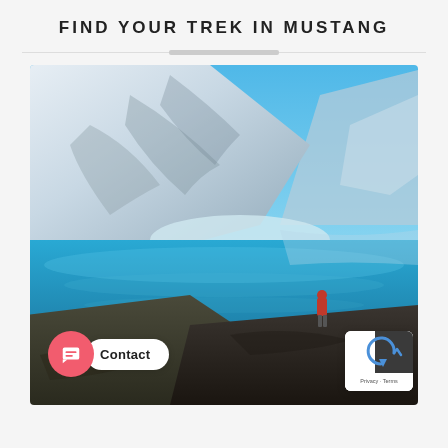FIND YOUR TREK IN MUSTANG
[Figure (photo): Panoramic mountain lake scene with snow-capped peaks reflecting in vivid turquoise water, a lone person in a red jacket standing on a rocky foreground ledge. Overlaid with a Contact chat bubble button and a reCAPTCHA privacy badge in the bottom corners.]